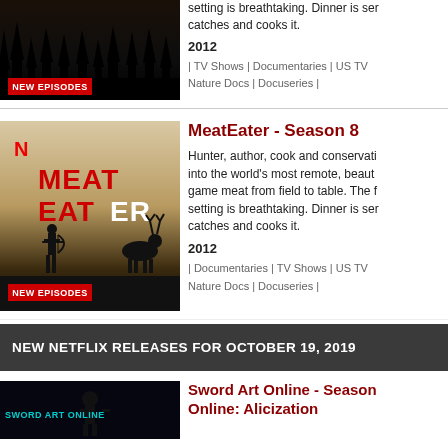setting is breathtaking. Dinner is served whenever he catches and cooks it.
2012
| TV Shows | Documentaries | US TV Nature Docs | Docuseries |
[Figure (screenshot): MeatEater show thumbnail with Netflix N logo, MEAT EATER text in red and white, hunter silhouette with bow and deer silhouette, NEW EPISODES badge]
MeatEater - Season 8
Hunter, author, cook and conservationist Steve Rinella ventures into the world's most remote, beautiful places to bring game meat from field to table. The food, the setting is breathtaking. Dinner is served whenever he catches and cooks it.
2012
| Documentaries | TV Shows | US TV Nature Docs | Docuseries |
NEW NETFLIX RELEASES FOR OCTOBER 19, 2019
[Figure (screenshot): Sword Art Online anime show thumbnail with dark background and character silhouette, SWORD ART ONLINE text]
Sword Art Online - Season Sword Art Online: Alicization